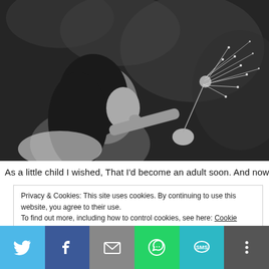[Figure (photo): Black and white photograph of a young girl blowing seeds off a dandelion]
As a little child I wished, That I'd become an adult soon. And now I
Privacy & Cookies: This site uses cookies. By continuing to use this website, you agree to their use. To find out more, including how to control cookies, see here: Cookie Policy
[Figure (infographic): Social media share bar with Twitter, Facebook, Email, WhatsApp, SMS, and More buttons]